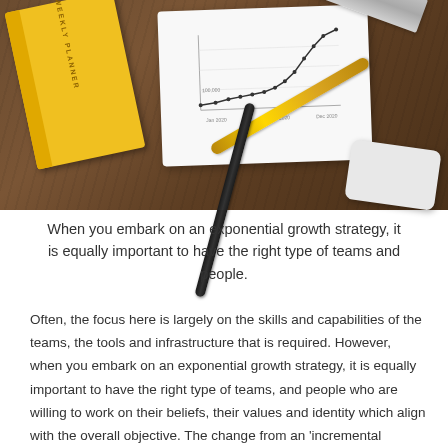[Figure (photo): Overhead photo of a wooden desk with a yellow weekly planner notebook, a white notepad with a line chart drawn on it, a gold pen, a black marker pen, a metal ruler, and a white card, all arranged on a dark wood surface.]
When you embark on an exponential growth strategy, it is equally important to have the right type of teams and people.
Often, the focus here is largely on the skills and capabilities of the teams, the tools and infrastructure that is required. However, when you embark on an exponential growth strategy, it is equally important to have the right type of teams, and people who are willing to work on their beliefs, their values and identity which align with the overall objective. The change from an 'incremental growth' to an 'exponential growth' requires a change of attitude,